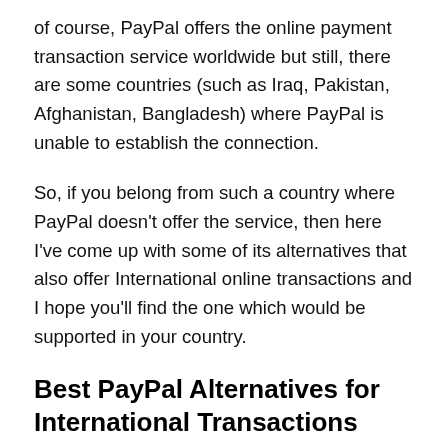of course, PayPal offers the online payment transaction service worldwide but still, there are some countries (such as Iraq, Pakistan, Afghanistan, Bangladesh) where PayPal is unable to establish the connection.
So, if you belong from such a country where PayPal doesn't offer the service, then here I've come up with some of its alternatives that also offer International online transactions and I hope you'll find the one which would be supported in your country.
Best PayPal Alternatives for International Transactions
Here's the list of best online payment transaction services that offer services internationally and even in